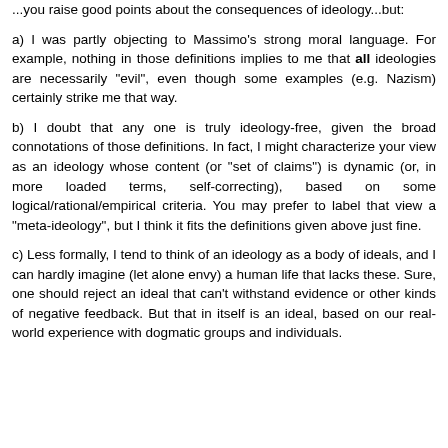...you raise good points about the consequences of ideology...but:
a) I was partly objecting to Massimo's strong moral language. For example, nothing in those definitions implies to me that all ideologies are necessarily "evil", even though some examples (e.g. Nazism) certainly strike me that way.
b) I doubt that any one is truly ideology-free, given the broad connotations of those definitions. In fact, I might characterize your view as an ideology whose content (or "set of claims") is dynamic (or, in more loaded terms, self-correcting), based on some logical/rational/empirical criteria. You may prefer to label that view a "meta-ideology", but I think it fits the definitions given above just fine.
c) Less formally, I tend to think of an ideology as a body of ideals, and I can hardly imagine (let alone envy) a human life that lacks these. Sure, one should reject an ideal that can't withstand evidence or other kinds of negative feedback. But that in itself is an ideal, based on our real-world experience with dogmatic groups and individuals.